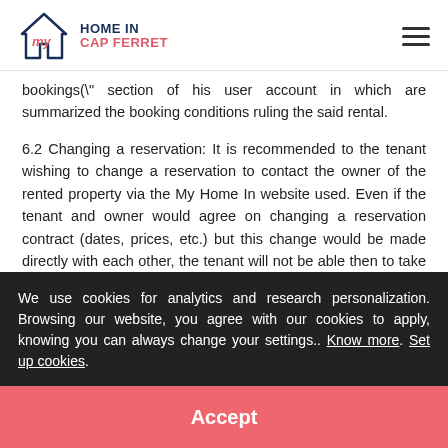MY HOME IN CAP FERRET
bookings(" section of his user account in which are summarized the booking conditions ruling the said rental.
6.2 Changing a reservation: It is recommended to the tenant wishing to change a reservation to contact the owner of the rented property via the My Home In website used. Even if the tenant and owner would agree on changing a reservation contract (dates, prices, etc.) but this change would be made directly with each other, the tenant will not be able then to take advantage of protection conditions established the My Home In such as the them are.
We use cookies for analytics and research personalization. Browsing our website, you agree with our cookies to apply, knowing you can always change your settings.. Know more. Set up cookies.
Accept
reservation by the tenant, it is the cancellation policy chosen by the owner and by the at the moment of